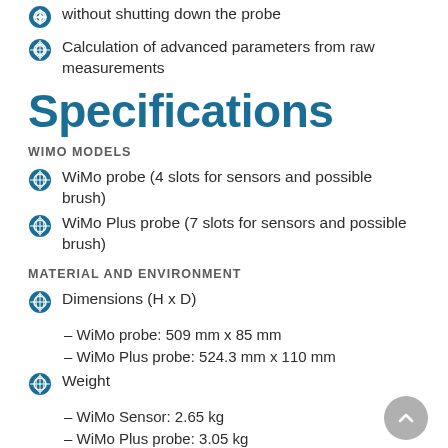without shutting down the probe
Calculation of advanced parameters from raw measurements
Specifications
WiMo MODELS
WiMo probe (4 slots for sensors and possible brush)
WiMo Plus probe (7 slots for sensors and possible brush)
MATERIAL AND ENVIRONMENT
Dimensions (H x D)
– WiMo probe: 509 mm x 85 mm
– WiMo Plus probe: 524.3 mm x 110 mm
Weight
– WiMo Sensor: 2.65 kg
– WiMo Plus probe: 3.05 kg